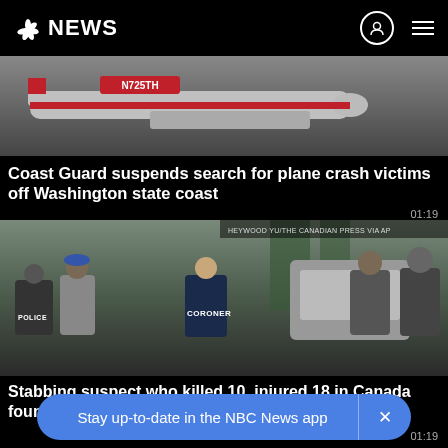NBC NEWS
[Figure (photo): Airplane with tail number N725TH on a runway, red and white livery]
Coast Guard suspends search for plane crash victims off Washington state coast
01:19
[Figure (photo): Police and coroner officials standing near a vehicle, photo credit: HEYWOOD YU/THE CANADIAN PRESS VIA AP]
Stabbing suspect who killed 10, injured 18 in Canada found dead
01:19
Stay up-to-date in the NBC News app